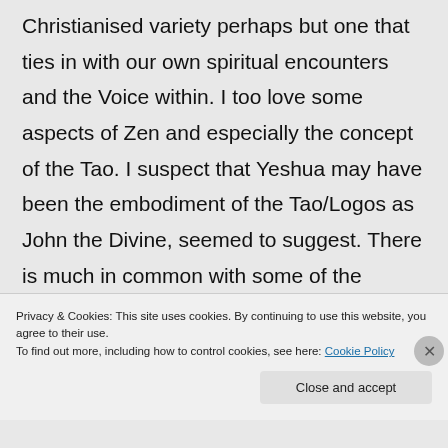Christianised variety perhaps but one that ties in with our own spiritual encounters and the Voice within. I too love some aspects of Zen and especially the concept of the Tao. I suspect that Yeshua may have been the embodiment of the Tao/Logos as John the Divine, seemed to suggest. There is much in common with some of the Eastern traditions but the whole death and claimed resurrection thing still enshrouds Yeshua with something that the East...
Privacy & Cookies: This site uses cookies. By continuing to use this website, you agree to their use.
To find out more, including how to control cookies, see here: Cookie Policy
Close and accept